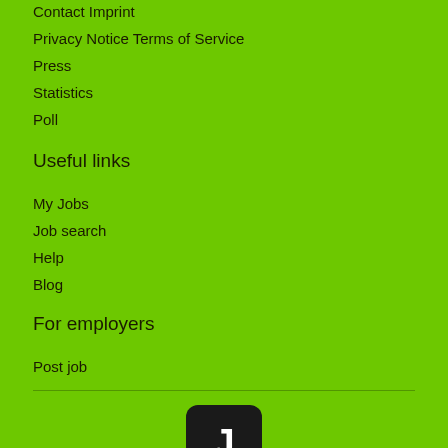Contact Imprint
Privacy Notice Terms of Service
Press
Statistics
Poll
Useful links
My Jobs
Job search
Help
Blog
For employers
Post job
[Figure (logo): Job board logo: dark rounded square with white letter J]
Global  Germany  Austria  Switzerland
United Kingdom  Ireland  Czechia  Hungary  Poland